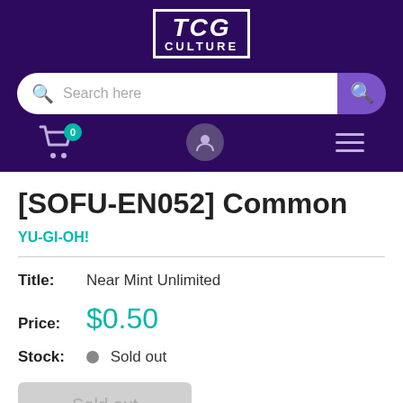TCG CULTURE
Search here
[SOFU-EN052] Common
YU-GI-OH!
Title: Near Mint Unlimited
Price: $0.50
Stock: Sold out
Sold out